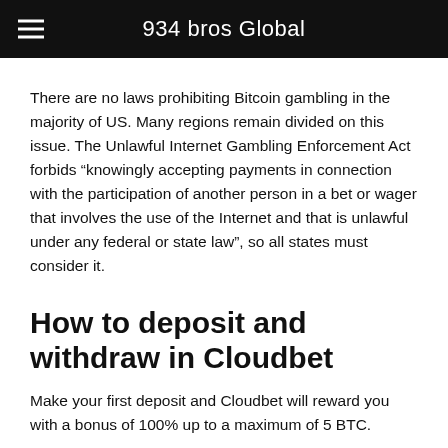934 bros Global
There are no laws prohibiting Bitcoin gambling in the majority of US. Many regions remain divided on this issue. The Unlawful Internet Gambling Enforcement Act forbids “knowingly accepting payments in connection with the participation of another person in a bet or wager that involves the use of the Internet and that is unlawful under any federal or state law”, so all states must consider it.
How to deposit and withdraw in Cloudbet
Make your first deposit and Cloudbet will reward you with a bonus of 100% up to a maximum of 5 BTC.